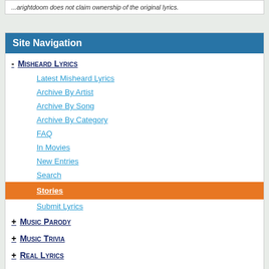...arightdoom does not claim ownership of the original lyrics.
Site Navigation
- Misheard Lyrics
Latest Misheard Lyrics
Archive By Artist
Archive By Song
Archive By Category
FAQ
In Movies
New Entries
Search
Stories
Submit Lyrics
+ Music Parody
+ Music Trivia
+ Real Lyrics
+ Band Name Wordplay
+ Song Name Wordplay